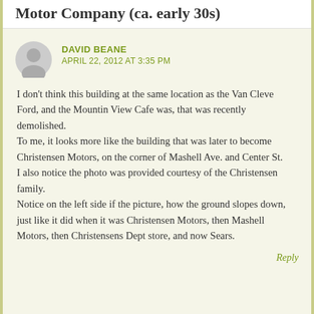Motor Company (ca. early 30s)
DAVID BEANE
APRIL 22, 2012 AT 3:35 PM
I don't think this building at the same location as the Van Cleve Ford, and the Mountin View Cafe was, that was recently demolished.
To me, it looks more like the building that was later to become Christensen Motors, on the corner of Mashell Ave. and Center St.
I also notice the photo was provided courtesy of the Christensen family.
Notice on the left side if the picture, how the ground slopes down, just like it did when it was Christensen Motors, then Mashell Motors, then Christensens Dept store, and now Sears.
Reply